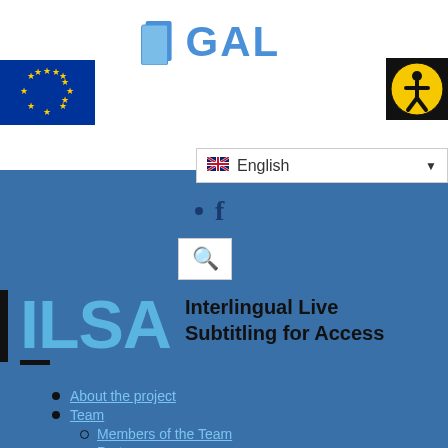[Figure (logo): GAL logo with blue book/door icon and bold blue 'GAL' text]
[Figure (logo): European Union flag - blue background with circle of yellow stars]
[Figure (logo): Accessibility icon - black background with yellow circle and person symbol]
🇬🇧 English ▼
[Figure (logo): Facebook icon bullet point]
[Figure (logo): Search magnifying glass icon]
[Figure (logo): ILSA logo - dark bar on left, large light blue letters ILSA, with black underline]
Interlingual Live Subtitling for Access
About the project
Team
Members of the Team
Partners
University of Vigo
University of Antwerpen